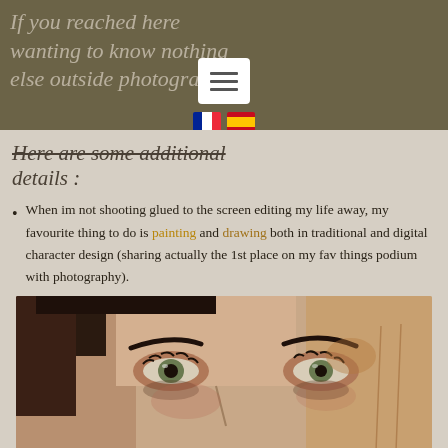If you reached here wanting to know nothing else outside photography,
Here are some additional details :
When im not shooting glued to the screen editing my life away, my favourite thing to do is painting and drawing both in traditional and digital character design (sharing actually the 1st place on my fav things podium with photography).
[Figure (illustration): A close-up digital or traditional painting of a woman's face, showing detailed eyes with green irises, dark eyebrows, and a hand partially covering part of the face. The style is realistic painting with warm tones.]